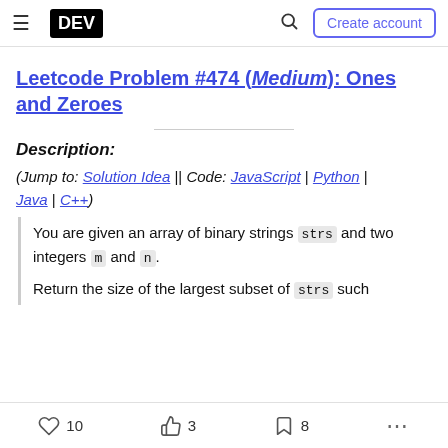DEV | Create account
Leetcode Problem #474 (Medium): Ones and Zeroes
Description:
(Jump to: Solution Idea || Code: JavaScript | Python | Java | C++)
You are given an array of binary strings strs and two integers m and n.
Return the size of the largest subset of strs such
10   3   8   ...